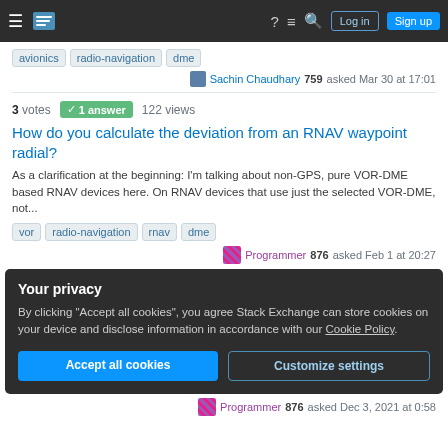Navigation bar with hamburger menu, Stack Exchange logo, help, chat, search icons, Log in and Sign up buttons
avionics  radio-navigation  dme
Sachin Chaudhary 759 asked Mar 30 at 17:01
3 votes  1 answer  122 views
How do you calculate the deviation from an RNAV waypoint radial?
As a clarification at the beginning: I'm talking about non-GPS, pure VOR-DME based RNAV devices here. On RNAV devices that use just the selected VOR-DME, not...
vor  radio-navigation  rnav  dme
Programmer 876 asked Feb 1 at 20:27
Your privacy
By clicking "Accept all cookies", you agree Stack Exchange can store cookies on your device and disclose information in accordance with our Cookie Policy.
Accept all cookies  Customize settings
Programmer 876 asked Dec 3, 2021 at 0:58